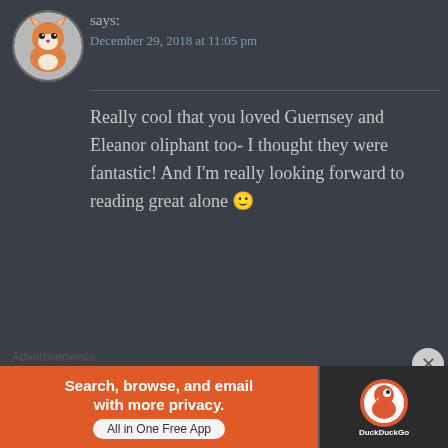[Figure (illustration): Circular avatar showing a cartoon fox illustration]
says:
December 29, 2018 at 11:05 pm
Really cool that you loved Guernsey and Eleanor oliphant too- I thought they were fantastic! And I'm really looking forward to reading great alone 🙂
★ Liked by 1 person
[Figure (logo): Ashes Books & Bobs circular logo]
ASHESBOOKSANDBOBS says:
December 29, 2018 at 11:54 pm
Advertisements
[Figure (screenshot): DuckDuckGo advertisement banner: Search, browse, and email with more privacy. All in One Free App - DuckDuckGo logo on dark background]